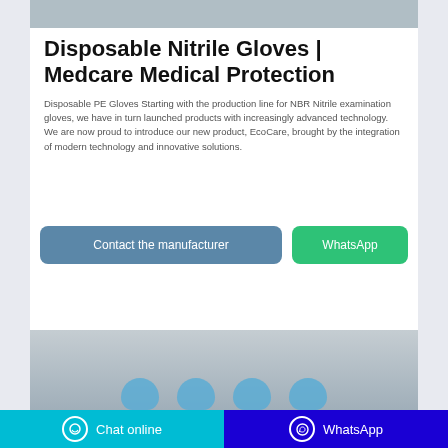[Figure (photo): Top image strip — cropped product or banner image at top of card]
Disposable Nitrile Gloves | Medcare Medical Protection
Disposable PE Gloves Starting with the production line for NBR Nitrile examination gloves, we have in turn launched products with increasingly advanced technology. We are now proud to introduce our new product, EcoCare, brought by the integration of modern technology and innovative solutions.
[Figure (screenshot): Contact the manufacturer and WhatsApp buttons]
[Figure (photo): Bottom product photo strip showing blue nitrile gloves]
Chat online   WhatsApp